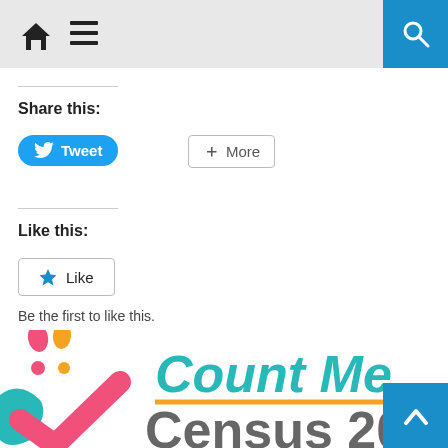Navigation bar with home and menu icons, and search button
Share this:
Tweet  More
Like this:
Like
Be the first to like this.
[Figure (logo): Count Me Census 2020 San Antonio Bexar County logo with colorful hand/checkmark graphic]